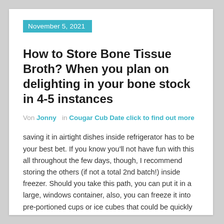November 5, 2021
How to Store Bone Tissue Broth? When you plan on delighting in your bone stock in 4-5 instances
Von Jonny in Cougar Cub Date click to find out more
saving it in airtight dishes inside refrigerator has to be your best bet. If you know you'll not have fun with this all throughout the few days, though, I recommend storing the others (if not a total 2nd batch!) inside freezer. Should you take this path, you can put it in a large, windows container, also, you can freeze it into pre-portioned cups or ice cubes that could be quickly defrosted from the stovetop.
Finding the top store-bo…